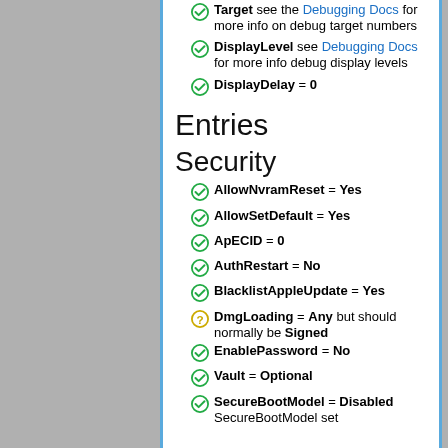Target see the Debugging Docs for more info on debug target numbers
DisplayLevel see Debugging Docs for more info debug display levels
DisplayDelay = 0
Entries
Security
AllowNvramReset = Yes
AllowSetDefault = Yes
ApECID = 0
AuthRestart = No
BlacklistAppleUpdate = Yes
DmgLoading = Any but should normally be Signed
EnablePassword = No
Vault = Optional
SecureBootModel = Disabled SecureBootModel set